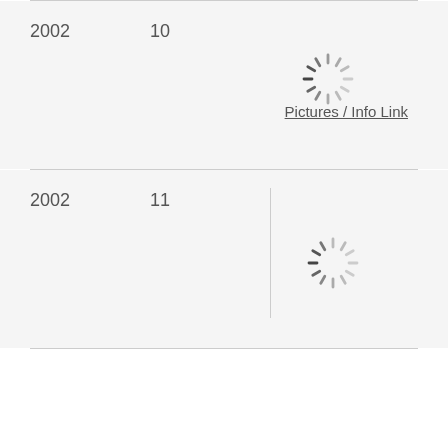| 2002 | 10 | [spinner/loading image] | Pictures / Info Link |
| 2002 | 11 | [spinner/loading image] |  |